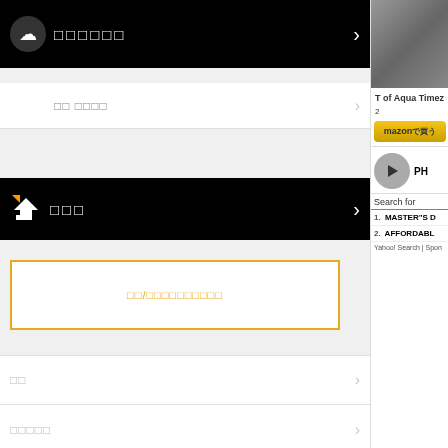[Figure (screenshot): Japanese website navigation screenshot with black header bars, orange accents, list rows with Japanese text, LiveFans PUSH branding, and a right sidebar showing Aqua Timez content and Amazon button]
□□□□□□
□□ □□□□
□□□
□□/□□□□□□□□□□
□□
□□□□□
LiveFans PUSH!
□□□□□□□□
□□□□
T of Aqua Timez
mazonで買う
PH
Search for
1. MASTER"S D
2. AFFORDABL
Yahoo! Search | Spon